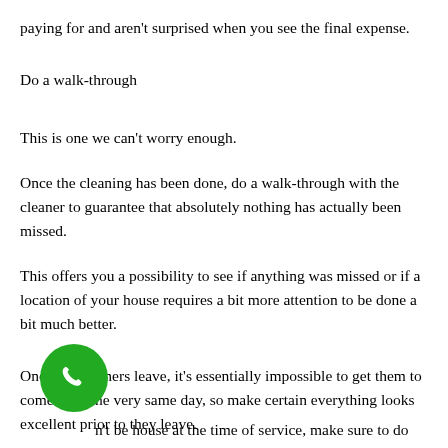paying for and aren't surprised when you see the final expense.
Do a walk-through
This is one we can't worry enough.
Once the cleaning has been done, do a walk-through with the cleaner to guarantee that absolutely nothing has actually been missed.
This offers you a possibility to see if anything was missed or if a location of your house requires a bit more attention to be done a bit much better.
Once the cleaners leave, it's essentially impossible to get them to come back the very same day, so make certain everything looks excellent prior to they leave.
n't be house at the time of service, make sure to do the walk-through as soon as possible. The more trusted cleaning
[Figure (other): Green circular phone/call button icon]